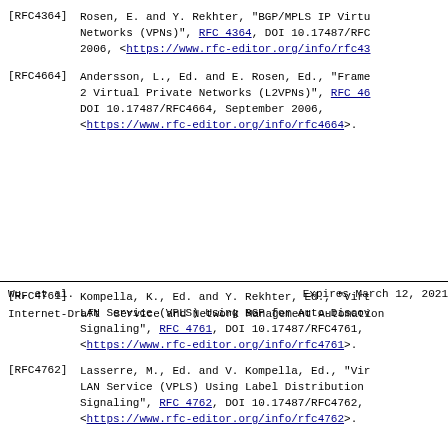[RFC4364]   Rosen, E. and Y. Rekhter, "BGP/MPLS IP Virtual Private Networks (VPNs)", RFC 4364, DOI 10.17487/RFC4364, February 2006, <https://www.rfc-editor.org/info/rfc4364>.
[RFC4664]   Andersson, L., Ed. and E. Rosen, Ed., "Framework for Layer 2 Virtual Private Networks (L2VPNs)", RFC 4664, DOI 10.17487/RFC4664, September 2006, <https://www.rfc-editor.org/info/rfc4664>.
Wu, et al.                    Expires March 12, 2021
Internet-Draft   Service and Network Management Automation
[RFC4761]   Kompella, K., Ed. and Y. Rekhter, Ed., "Virtual Private LAN Service (VPLS) Using BGP for Auto-Discovery and Signaling", RFC 4761, DOI 10.17487/RFC4761, <https://www.rfc-editor.org/info/rfc4761>.
[RFC4762]   Lasserre, M., Ed. and V. Kompella, Ed., "Virtual Private LAN Service (VPLS) Using Label Distribution Protocol (LDP) Signaling", RFC 4762, DOI 10.17487/RFC4762, <https://www.rfc-editor.org/info/rfc4762>.